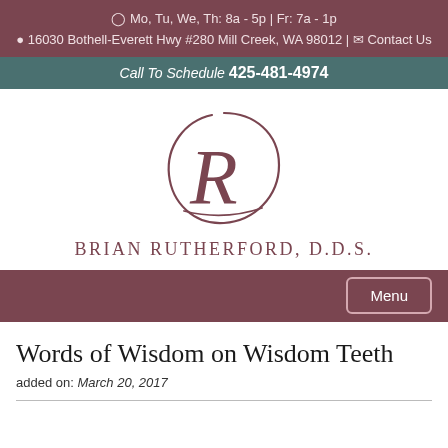Mo, Tu, We, Th: 8a - 5p | Fr: 7a - 1p
16030 Bothell-Everett Hwy #280 Mill Creek, WA 98012 | Contact Us
Call To Schedule 425-481-4974
[Figure (logo): Decorative cursive R letter with circular flourish logo for Brian Rutherford DDS]
BRIAN RUTHERFORD, D.D.S.
Menu
Words of Wisdom on Wisdom Teeth
added on: March 20, 2017